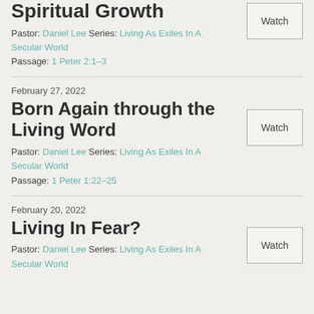Spiritual Growth
Pastor: Daniel Lee Series: Living As Exiles In A Secular World Passage: 1 Peter 2:1–3
February 27, 2022
Born Again through the Living Word
Pastor: Daniel Lee Series: Living As Exiles In A Secular World Passage: 1 Peter 1:22–25
February 20, 2022
Living In Fear?
Pastor: Daniel Lee Series: Living As Exiles In A Secular World